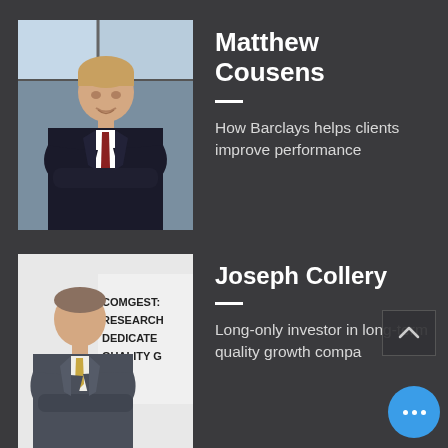[Figure (photo): Professional headshot of Matthew Cousens, a man in a dark suit with arms crossed, blue office background with windows]
Matthew Cousens
How Barclays helps clients improve performance
[Figure (photo): Professional photo of Joseph Collery, a man in a grey suit with arms crossed, standing in front of a Comgest sign reading COMGEST: RESEARCH DEDICATED QUALITY G]
Joseph Collery
Long-only investor in long-term quality growth compa